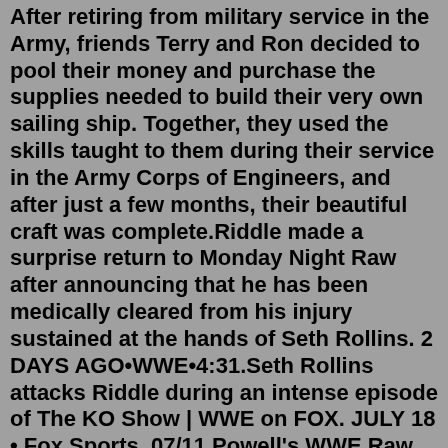After retiring from military service in the Army, friends Terry and Ron decided to pool their money and purchase the supplies needed to build their very own sailing ship. Together, they used the skills taught to them during their service in the Army Corps of Engineers, and after just a few months, their beautiful craft was complete.Riddle made a surprise return to Monday Night Raw after announcing that he has been medically cleared from his injury sustained at the hands of Seth Rollins. 2 DAYS AGO•WWE•4:31.Seth Rollins attacks Riddle during an intense episode of The KO Show | WWE on FOX. JULY 18 • Fox Sports. 07/11 Powell's WWE Raw audio review: Brock Lesnar's latest appearance, Bobby Lashley and ... Aug 15, 2017 · 1. A Hobbit Head Scratcher. Anyone who’s gotten lost in Middle-earth knows that J.R.R. Tolkien loved a logic puzzle. The riddle competition between Bilbo Baggins and Gollum in The Hobbit serves ... Aug 16, 2022 · Riddle made a surprise return to Monday Night Raw after announcing that he has been medically cleared from his injury sustained at the hands of